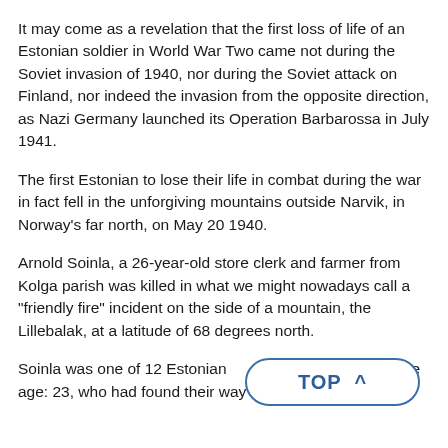It may come as a revelation that the first loss of life of an Estonian soldier in World War Two came not during the Soviet invasion of 1940, nor during the Soviet attack on Finland, nor indeed the invasion from the opposite direction, as Nazi Germany launched its Operation Barbarossa in July 1941.
The first Estonian to lose their life in combat during the war in fact fell in the unforgiving mountains outside Narvik, in Norway's far north, on May 20 1940.
Arnold Soinla, a 26-year-old store clerk and farmer from Kolga parish was killed in what we might nowadays call a "friendly fire" incident on the side of a mountain, the Lillebalak, at a latitude of 68 degrees north.
Soinla was one of 12 Estonian
age: 23, who had found their way fighting for Norway